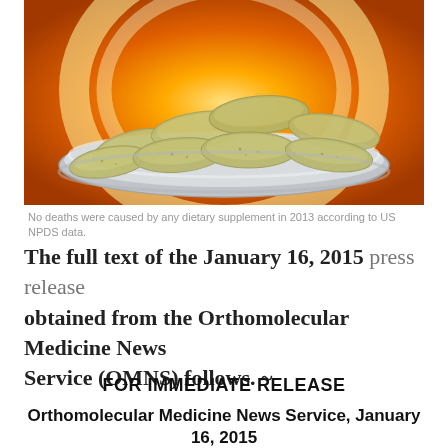[Figure (photo): A metal spoon holding multiple beige/tan oval vitamin or dietary supplement tablets against an orange background with a circular highlight.]
No deaths were caused by any dietary supplement in 2013 according to US NPDS data.
The full text of the January 16, 2015 press release obtained from the Orthomolecular Medicine News Service (OMNS) follows. ~
FOR IMMEDIATE RELEASE
Orthomolecular Medicine News Service, January 16, 2015